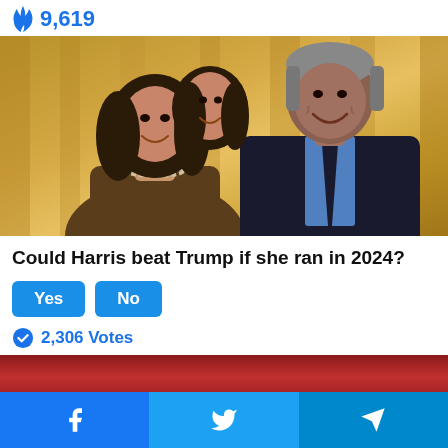🔥 9,619
[Figure (photo): Two smiling people posing together in front of a yellow curtain backdrop — a woman in a brown blazer with pearl necklace and a man in a dark suit with blue tie]
Could Harris beat Trump if she ran in 2024?
Yes   No
2,306 Votes
[Figure (photo): Partial photo visible at bottom, reddish-brown tones]
Facebook share | Twitter share | Telegram share